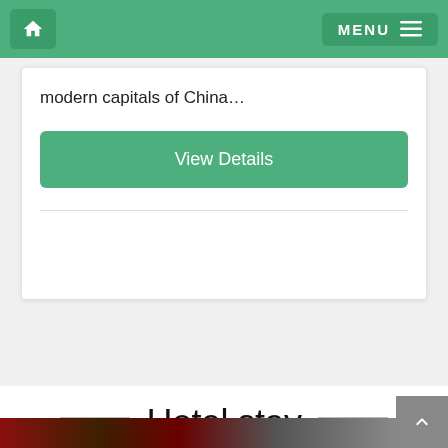Home | MENU
modern capitals of China...
[Figure (screenshot): Green 'View Details' button]
Hotel stay
[Figure (photo): Partial bottom image strip showing dark reddish tones]